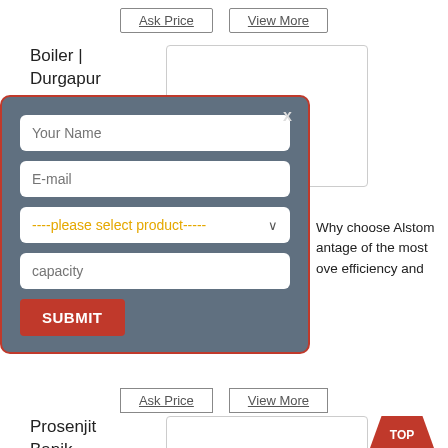Ask Price | View More
Boiler | Durgapur | Ge Power
[Figure (screenshot): A modal/popup form with fields: Your Name, E-mail, product selector, capacity, and a SUBMIT button. The modal has a teal/slate background with red border and an X close button.]
Why choose Alstom antage of the most ove efficiency and
Ask Price | View More
Prosenjit Banik – Head of
TOP